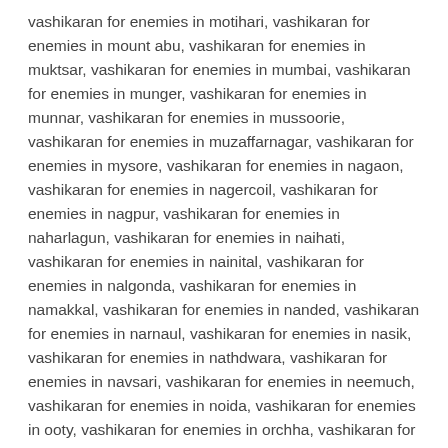vashikaran for enemies in motihari, vashikaran for enemies in mount abu, vashikaran for enemies in muktsar, vashikaran for enemies in mumbai, vashikaran for enemies in munger, vashikaran for enemies in munnar, vashikaran for enemies in mussoorie, vashikaran for enemies in muzaffarnagar, vashikaran for enemies in mysore, vashikaran for enemies in nagaon, vashikaran for enemies in nagercoil, vashikaran for enemies in nagpur, vashikaran for enemies in naharlagun, vashikaran for enemies in naihati, vashikaran for enemies in nainital, vashikaran for enemies in nalgonda, vashikaran for enemies in namakkal, vashikaran for enemies in nanded, vashikaran for enemies in narnaul, vashikaran for enemies in nasik, vashikaran for enemies in nathdwara, vashikaran for enemies in navsari, vashikaran for enemies in neemuch, vashikaran for enemies in noida, vashikaran for enemies in ooty, vashikaran for enemies in orchha, vashikaran for enemies in palakkad, vashikaran for enemies in palanpur, vashikaran for enemies in pali, vashikaran for enemies in palwal, vashikaran for enemies in panaji, vashikaran for enemies in panchkula, vashikaran for enemies in pandharpur,